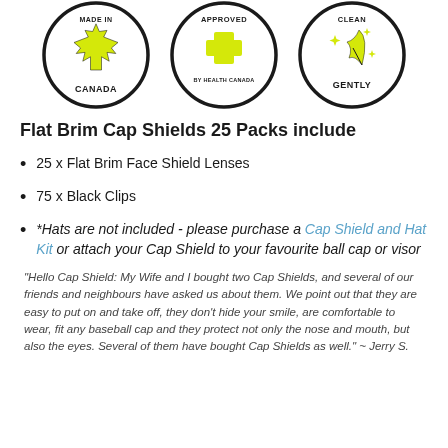[Figure (illustration): Three circular badge icons: 'Made in Canada' with maple leaf, 'Approved by Health Canada' with plus sign, 'Clean Gently' with feather and sparkles. Black border circles with yellow/lime green icons on white background.]
Flat Brim Cap Shields 25 Packs include
25 x Flat Brim Face Shield Lenses
75 x Black Clips
*Hats are not included - please purchase a Cap Shield and Hat Kit or attach your Cap Shield to your favourite ball cap or visor
"Hello Cap Shield: My Wife and I bought two Cap Shields, and several of our friends and neighbours have asked us about them. We point out that they are easy to put on and take off, they don't hide your smile, are comfortable to wear, fit any baseball cap and they protect not only the nose and mouth, but also the eyes. Several of them have bought Cap Shields as well." ~ Jerry S.